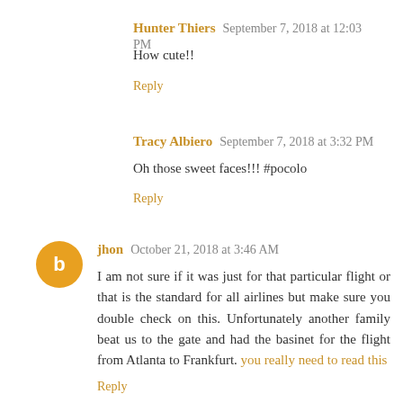Hunter Thiers  September 7, 2018 at 12:03 PM
How cute!!
Reply
Tracy Albiero  September 7, 2018 at 3:32 PM
Oh those sweet faces!!! #pocolo
Reply
jhon  October 21, 2018 at 3:46 AM
I am not sure if it was just for that particular flight or that is the standard for all airlines but make sure you double check on this. Unfortunately another family beat us to the gate and had the basinet for the flight from Atlanta to Frankfurt. you really need to read this
Reply